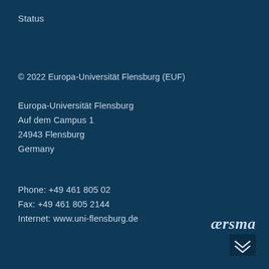Status
© 2022 Europa-Universität Flensburg (EUF)
Europa-Universität Flensburg
Auf dem Campus 1
24943 Flensburg
Germany
Phone: +49 461 805 02
Fax: +49 461 805 2144
Internet: www.uni-flensburg.de
[Figure (logo): aersma logo with italic serif text and chevron icon below]